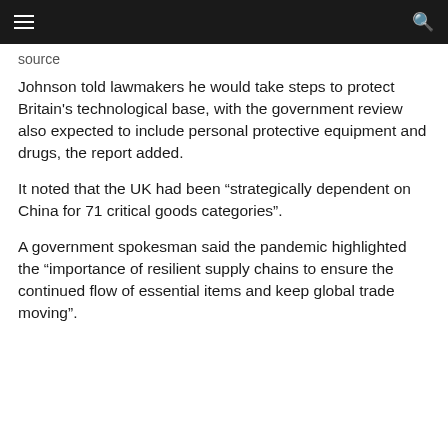source
Johnson told lawmakers he would take steps to protect Britain's technological base, with the government review also expected to include personal protective equipment and drugs, the report added.
It noted that the UK had been “strategically dependent on China for 71 critical goods categories”.
A government spokesman said the pandemic highlighted the “importance of resilient supply chains to ensure the continued flow of essential items and keep global trade moving”.